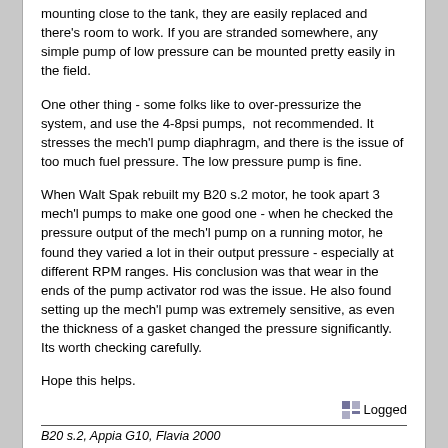mounting close to the tank, they are easily replaced and there's room to work. If you are stranded somewhere, any simple pump of low pressure can be mounted pretty easily in the field.
One other thing - some folks like to over-pressurize the system, and use the 4-8psi pumps, not recommended. It stresses the mech'l pump diaphragm, and there is the issue of too much fuel pressure. The low pressure pump is fine.
When Walt Spak rebuilt my B20 s.2 motor, he took apart 3 mech'l pumps to make one good one - when he checked the pressure output of the mech'l pump on a running motor, he found they varied a lot in their output pressure - especially at different RPM ranges. His conclusion was that wear in the ends of the pump activator rod was the issue. He also found setting up the mech'l pump was extremely sensitive, as even the thickness of a gasket changed the pressure significantly. Its worth checking carefully.
Hope this helps.
Logged
B20 s.2, Appia G10, Flavia 2000